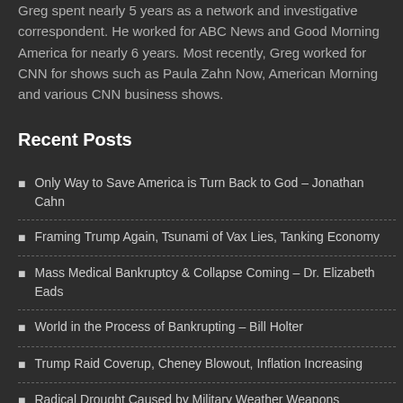Greg spent nearly 5 years as a network and investigative correspondent. He worked for ABC News and Good Morning America for nearly 6 years. Most recently, Greg worked for CNN for shows such as Paula Zahn Now, American Morning and various CNN business shows.
Recent Posts
Only Way to Save America is Turn Back to God – Jonathan Cahn
Framing Trump Again, Tsunami of Vax Lies, Tanking Economy
Mass Medical Bankruptcy & Collapse Coming – Dr. Elizabeth Eads
World in the Process of Bankrupting – Bill Holter
Trump Raid Coverup, Cheney Blowout, Inflation Increasing
Radical Drought Caused by Military Weather Weapons